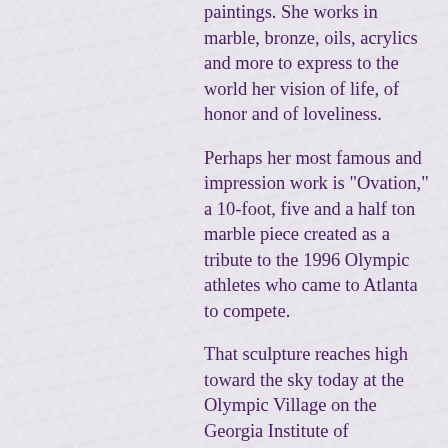paintings. She works in marble, bronze, oils, acrylics and more to express to the world her vision of life, of honor and of loveliness.
Perhaps her most famous and impression work is "Ovation," a 10-foot, five and a half ton marble piece created as a tribute to the 1996 Olympic athletes who came to Atlanta to compete.
That sculpture reaches high toward the sky today at the Olympic Village on the Georgia Institute of Technology campus in Atlanta, a tribute that will last for generations to come as an artist's interpretation of the heart of the ancient competitions.
When you meet Barbara you wonder how such a gentle and delicate lady can take a gigantic piece of cold marble and turn it into a beautiful expression of emotion. Like a modern-day Michelangelo, she